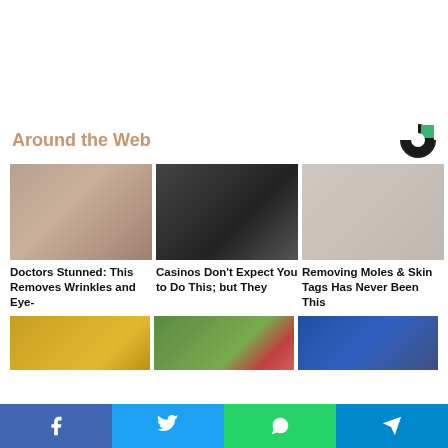[Figure (other): Top banner/advertisement area, white background]
Around the Web
[Figure (logo): Circular logo icon, dark with green accent]
[Figure (photo): Close-up of elderly skin with wrinkles]
Doctors Stunned: This Removes Wrinkles and Eye-
[Figure (photo): Woman at a casino slot machine]
Casinos Don't Expect You to Do This; but They
[Figure (photo): Skin tag/mole removal product]
Removing Moles & Skin Tags Has Never Been This
[Figure (photo): Honey jar]
[Figure (photo): Berries in hand outdoors]
[Figure (photo): Close-up of nails with blue nail polish]
Facebook | Twitter | WhatsApp | Telegram social share buttons